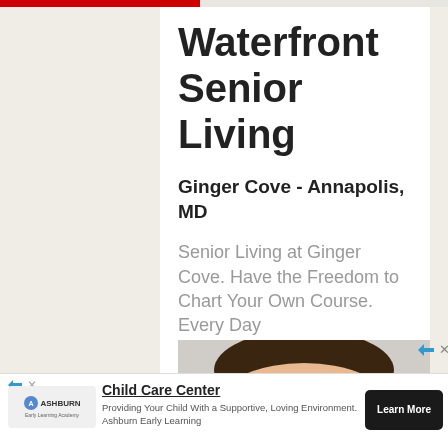Waterfront Senior Living
Ginger Cove - Annapolis, MD
Senior Living at Ginger Cove. Have the Freedom to Chart Your Own Course. Every Day
[Figure (photo): Child with colorful painted fingers raised over face]
Child Care Center
Providing Your Child With a Supportive, Loving Environment. Ashburn Early Learning